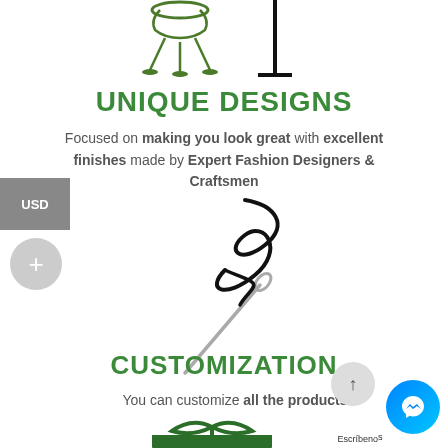[Figure (illustration): Decorative mannequin stand and a simple stand/post illustration at top]
UNIQUE DESIGNS
Focused on making you look great with excellent finishes made by Expert Fashion Designers & Craftsmen
[Figure (illustration): Needle and thread illustration — a sewing needle with a curvy black thread]
CUSTOMIZATION
You can customize all the products
[Figure (illustration): Green gift box with ribbon bow illustration at the bottom]